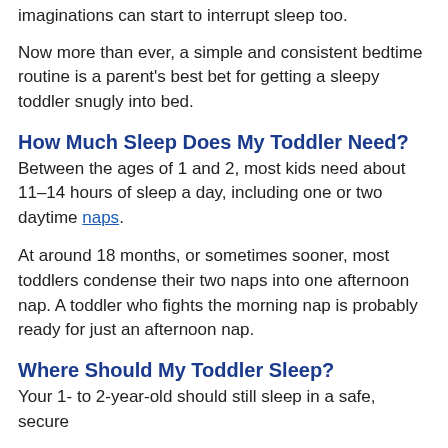imaginations can start to interrupt sleep too.
Now more than ever, a simple and consistent bedtime routine is a parent's best bet for getting a sleepy toddler snugly into bed.
How Much Sleep Does My Toddler Need?
Between the ages of 1 and 2, most kids need about 11–14 hours of sleep a day, including one or two daytime naps.
At around 18 months, or sometimes sooner, most toddlers condense their two naps into one afternoon nap. A toddler who fights the morning nap is probably ready for just an afternoon nap.
Where Should My Toddler Sleep?
Your 1- to 2-year-old should still sleep in a safe, secure